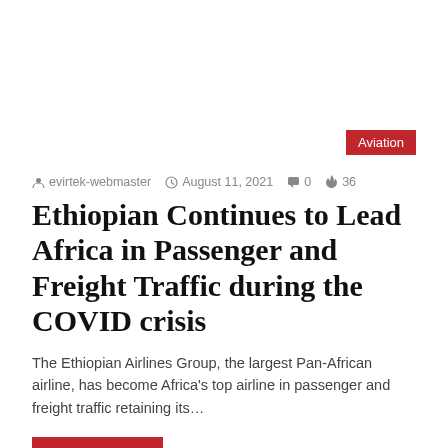Aviation
evirtek-webmaster  August 11, 2021  0  36
Ethiopian Continues to Lead Africa in Passenger and Freight Traffic during the COVID crisis
The Ethiopian Airlines Group, the largest Pan-African airline, has become Africa's top airline in passenger and freight traffic retaining its…
Read More »